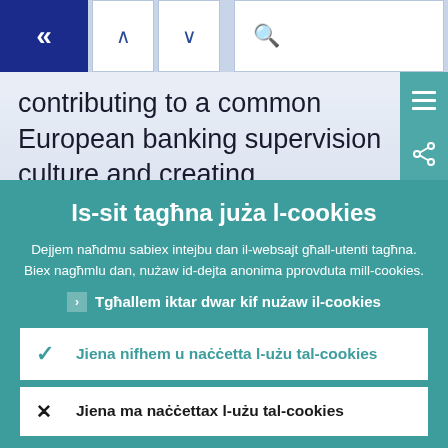[Figure (screenshot): Navigation bar with back button (double left chevron in blue), up arrow, down arrow, and search icon on light blue background]
contributing to a common European banking supervision culture and creating
Is-sit tagħna juża l-cookies
Dejjem naħdmu sabiex intejbu dan il-websajt għall-utenti tagħna. Biex nagħmlu dan, nużaw id-dejta anonima pprovduta mill-cookies.
› Tgħallem iktar dwar kif nużaw il-cookies
✓ Jiena nifhem u naċċetta l-użu tal-cookies
✕ Jiena ma naċċettax l-użu tal-cookies